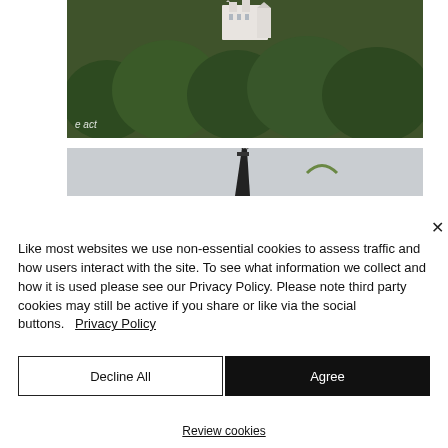[Figure (photo): Photograph of Neuschwanstein castle visible above dense green forest/trees, with text 'e act' watermark visible in lower-left corner]
[Figure (photo): Photograph showing a dark spire/tower top against a pale grey overcast sky]
Like most websites we use non-essential cookies to assess traffic and how users interact with the site. To see what information we collect and how it is used please see our Privacy Policy. Please note third party cookies may still be active if you share or like via the social buttons.   Privacy Policy
Decline All
Agree
Review cookies